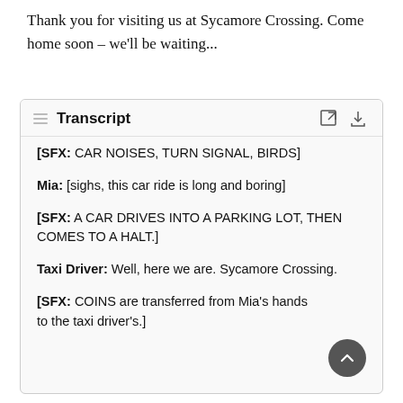Thank you for visiting us at Sycamore Crossing. Come home soon – we'll be waiting...
Transcript
[SFX: CAR NOISES, TURN SIGNAL, BIRDS]
Mia: [sighs, this car ride is long and boring]
[SFX: A CAR DRIVES INTO A PARKING LOT, THEN COMES TO A HALT.]
Taxi Driver: Well, here we are. Sycamore Crossing.
[SFX: COINS are transferred from Mia’s hands to the taxi driver’s.]